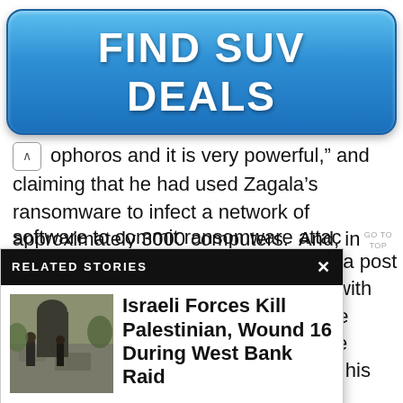[Figure (illustration): Blue gradient button advertisement reading FIND SUV DEALS in bold white text]
ophoros and it is very powerful,” and claiming that he had used Zagala’s ransomware to infect a network of approximately 3000 computers.  And, in
[Figure (screenshot): Related Stories popup overlay with black header bar showing 'RELATED STORIES' and X close button. Contains thumbnail image of people near rubble and bold headline: Israeli Forces Kill Palestinian, Wound 16 During West Bank Raid. Followed by ellipsis.]
r wrote a post orking with now, we port I’ve cussed his ed his
software to commit ransomware attac